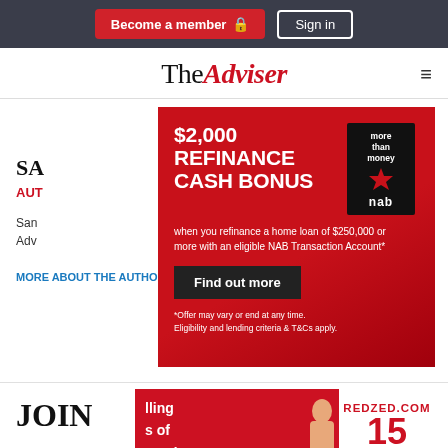Become a member  Sign in
[Figure (logo): The Adviser logo with hamburger menu icon]
[Figure (infographic): NAB advertisement: $2,000 Refinance Cash Bonus when you refinance a home loan of $250,000 or more with an eligible NAB Transaction Account*. Find out more. *Offer may vary or end at any time. Eligibility and lending criteria & T&Cs apply. NAB 'more than money' branding.]
SA
AUT
Sam Adviser
MORE ABOUT THE AUTHOR
[Figure (infographic): RedZed advertisement: REDZED.COM 15 YEARS. Partial text visible: 'ling s of oyed' with person image.]
JOIN